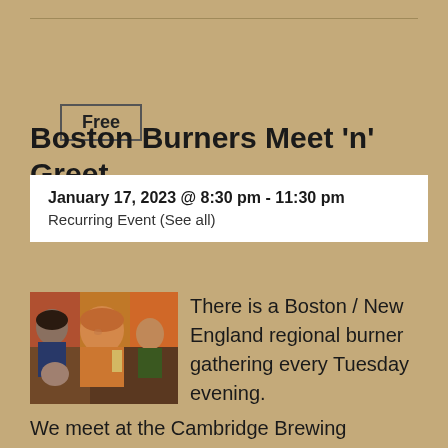Free
Boston Burners Meet 'n' Greet
January 17, 2023 @ 8:30 pm - 11:30 pm
Recurring Event (See all)
[Figure (photo): A colorful painted illustration showing several people socializing, including figures holding drinks at a gathering.]
There is a Boston / New England regional burner gathering every Tuesday evening. We meet at the Cambridge Brewing Company every Tuesday evening at 8:30 pm. These weekly gatherings are not specific to any camp or regional group, they are meant to be a place where burners and non-